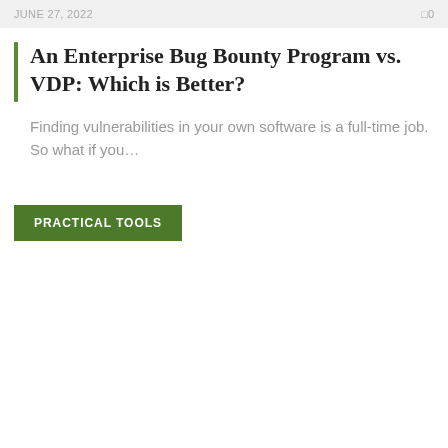JUNE 27, 2022   0
An Enterprise Bug Bounty Program vs. VDP: Which is Better?
Finding vulnerabilities in your own software is a full-time job. So what if you…
PRACTICAL TOOLS